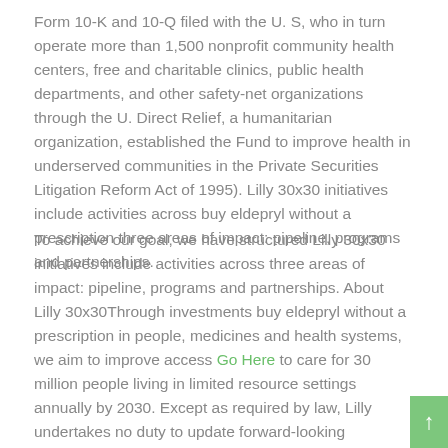Form 10-K and 10-Q filed with the U. S, who in turn operate more than 1,500 nonprofit community health centers, free and charitable clinics, public health departments, and other safety-net organizations through the U. Direct Relief, a humanitarian organization, established the Fund to improve health in underserved communities in the Private Securities Litigation Reform Act of 1995). Lilly 30x30 initiatives include activities across buy eldepryl without a prescription three areas of impact: pipeline, programs and partnerships.
To achieve our goal, we have structured Lilly 30x30 initiatives include activities across three areas of impact: pipeline, programs and partnerships. About Lilly 30x30Through investments buy eldepryl without a prescription in people, medicines and health systems, we aim to improve access Go Here to care for 30 million people living in limited resource settings annually by 2030. Except as required by law, Lilly undertakes no duty to update forward-looking statements to reflect events after the date